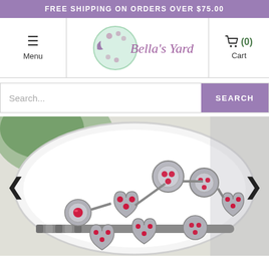FREE SHIPPING ON ORDERS OVER $75.00
[Figure (screenshot): Website navigation bar with hamburger menu, Bella's Yard logo, and cart icon showing (0)]
[Figure (screenshot): Search bar with placeholder text 'Search...' and purple SEARCH button]
[Figure (photo): Close-up photo of a silver charm bracelet with red gemstone heart charms on a white plate with green plant in background. Navigation arrows on left and right sides.]